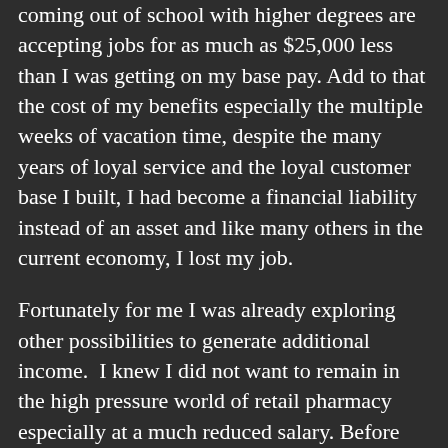coming out of school with higher degrees are accepting jobs for as much as $25,000 less than I was getting on my base pay. Add to that the cost of my benefits especially the multiple weeks of vacation time, despite the many years of loyal service and the loyal customer base I built, I had become a financial liability instead of an asset and like many others in the current economy, I lost my job.
Fortunately for me I was already exploring other possibilities to generate additional income.  I knew I did not want to remain in the high pressure world of retail pharmacy especially at a much reduced salary. Before losing my job I had already experienced a major reduction in pay, you see I worked on average 70 hours per week and they had already cut out overtime pay and many of the travel expenses I enjoyed. Just those cuts alone had